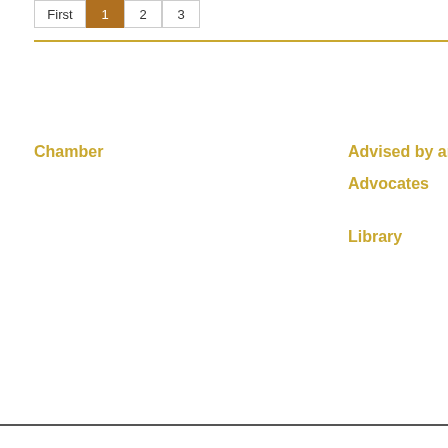First 1 2 3
Chamber
Advised by an advo
Advocates
Library